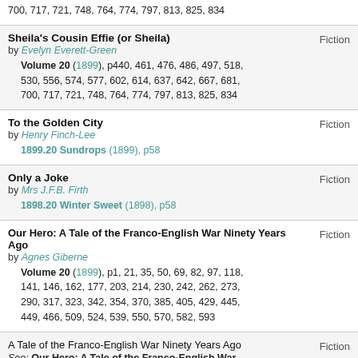700, 717, 721, 748, 764, 774, 797, 813, 825, 834
Sheila's Cousin Effie (or Sheila) by Evelyn Everett-Green — Fiction — Volume 20 (1899), p440, 461, 476, 486, 497, 518, 530, 556, 574, 577, 602, 614, 637, 642, 667, 681, 700, 717, 721, 748, 764, 774, 797, 813, 825, 834
To the Golden City by Henry Finch-Lee — Fiction — 1899.20 Sundrops (1899), p58
Only a Joke by Mrs J.F.B. Firth — Fiction — 1898.20 Winter Sweet (1898), p58
Our Hero: A Tale of the Franco-English War Ninety Years Ago by Agnes Giberne — Fiction — Volume 20 (1899), p1, 21, 35, 50, 69, 82, 97, 118, 141, 146, 162, 177, 203, 214, 230, 242, 262, 273, 290, 317, 323, 342, 354, 370, 385, 405, 429, 445, 449, 466, 509, 524, 539, 550, 570, 582, 593
A Tale of the Franco-English War Ninety Years Ago — Fiction — See: Our Hero: A Tale of the Franco-English War Ninety Years Ago